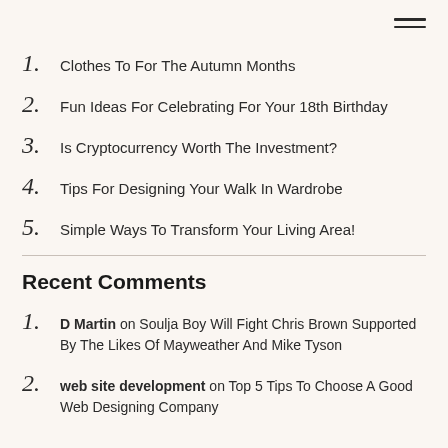1. Clothes To For The Autumn Months
2. Fun Ideas For Celebrating For Your 18th Birthday
3. Is Cryptocurrency Worth The Investment?
4. Tips For Designing Your Walk In Wardrobe
5. Simple Ways To Transform Your Living Area!
Recent Comments
1. D Martin on Soulja Boy Will Fight Chris Brown Supported By The Likes Of Mayweather And Mike Tyson
2. web site development on Top 5 Tips To Choose A Good Web Designing Company